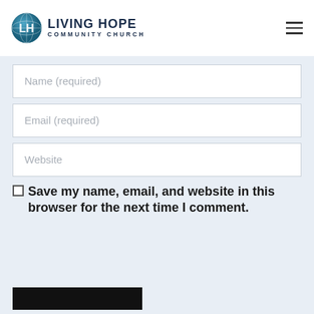[Figure (logo): Living Hope Community Church logo with circular emblem and text]
Name (required)
Email (required)
Website
Save my name, email, and website in this browser for the next time I comment.